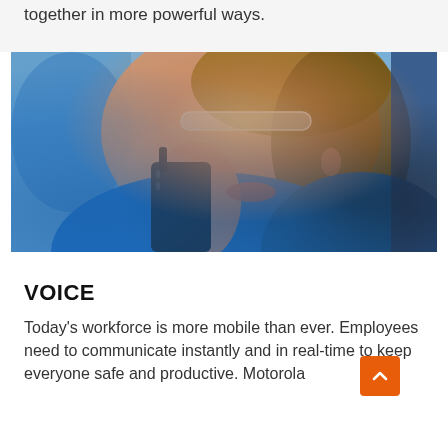together in more powerful ways.
[Figure (photo): Close-up photo of a woman wearing safety glasses and a blue shirt, holding a walkie-talkie radio up to her mouth, speaking into it. The background is blurred showing an industrial or warehouse environment.]
VOICE
Today's workforce is more mobile than ever. Employees need to communicate instantly and in real-time to keep everyone safe and productive. Motorola